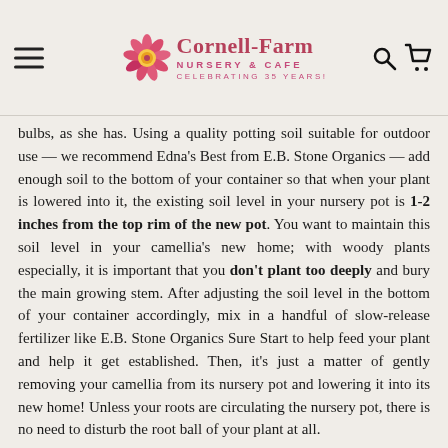Cornell Farm Nursery & Cafe — Celebrating 35 Years!
bulbs, as she has. Using a quality potting soil suitable for outdoor use — we recommend Edna's Best from E.B. Stone Organics — add enough soil to the bottom of your container so that when your plant is lowered into it, the existing soil level in your nursery pot is 1-2 inches from the top rim of the new pot. You want to maintain this soil level in your camellia's new home; with woody plants especially, it is important that you don't plant too deeply and bury the main growing stem. After adjusting the soil level in the bottom of your container accordingly, mix in a handful of slow-release fertilizer like E.B. Stone Organics Sure Start to help feed your plant and help it get established. Then, it's just a matter of gently removing your camellia from its nursery pot and lowering it into its new home! Unless your roots are circulating the nursery pot, there is no need to disturb the root ball of your plant at all.
Before filling in around your camellia with more soil,